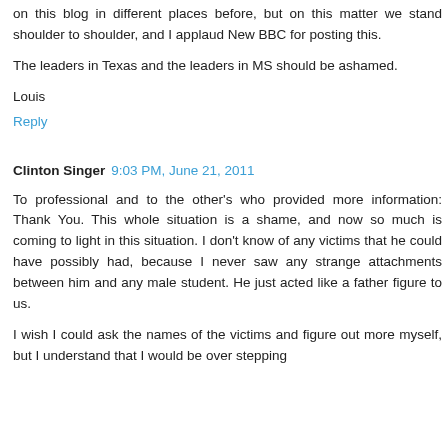on this blog in different places before, but on this matter we stand shoulder to shoulder, and I applaud New BBC for posting this.
The leaders in Texas and the leaders in MS should be ashamed.
Louis
Reply
Clinton Singer  9:03 PM, June 21, 2011
To professional and to the other's who provided more information: Thank You. This whole situation is a shame, and now so much is coming to light in this situation. I don't know of any victims that he could have possibly had, because I never saw any strange attachments between him and any male student. He just acted like a father figure to us.
I wish I could ask the names of the victims and figure out more myself, but I understand that I would be over stepping